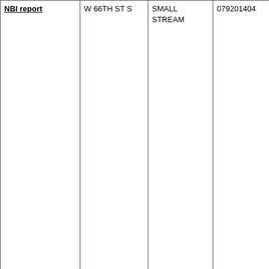| NBI report | W 66TH ST S | SMALL STREAM | 079201404 | Steel Stringer/Multi-beam or girder |
| NBI report | W 66TH ST S | SMALL STREAM | 079201404 | Wood Stringer/Multi-beam or girder |
| NBI report | W 93RD ST S | PRAIRIE CREEK | 078203002 | Steel Stringer/Multi-beam or girder |
| NBI report | S 112TH AVE W | WALNUT CREEK | 078212703 | Steel Stringer/Multi-beam or girder |
| NBI report | F-62 | NORTH SKUNK RIVER | 078171207 | Steel Stringer/Multi-beam or girder (5 spans) |
| NBI report Bridgehunter | HIGHWAY F-48 W | SQUAW CREEK | 079211101 | Steel Stringer/Multi-beam or girder |
| NBI report | LOCAL | NORTH SKUNK RIVER | 080180806 | Steel Stringer/Multi-beam or |